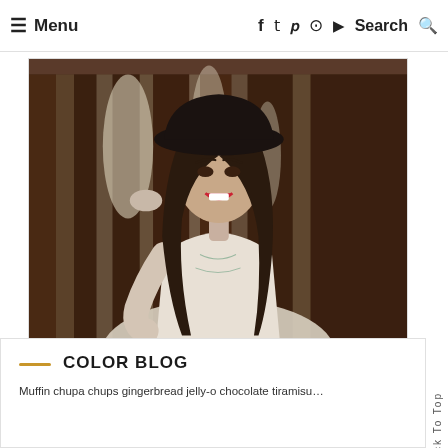≡ Menu  f  🐦  𝐏  📷  ▶  Search 🔍
[Figure (photo): A smiling young woman with long dark hair wearing a wide-brimmed black hat and a white embroidered blouse, photographed outdoors with a blurred forest background.]
Back To Top
COLOR BLOG
Muffin chupa chups gingerbread jelly-o chocolate tiramisu...